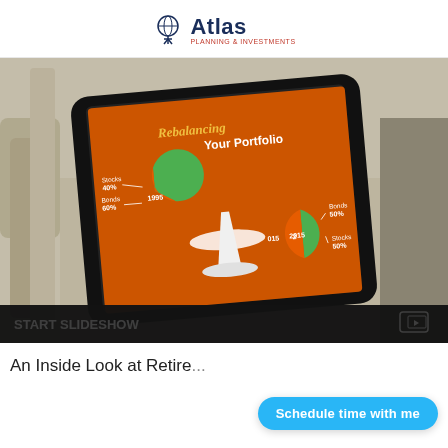Atlas
[Figure (photo): A tablet device displaying a portfolio rebalancing infographic showing two pie charts labeled 1995 (Stocks 40%, Bonds 60%) and 2015 (Bonds 50%, Stocks 50%) on an orange background, placed on a backpack]
START SLIDESHOW
An Inside Look at Retire...
Schedule time with me